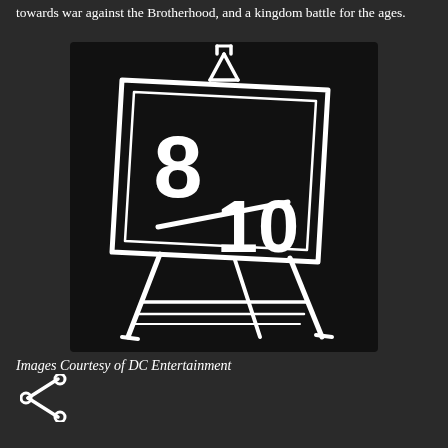towards war against the Brotherhood, and a kingdom battle for the ages.
[Figure (illustration): A chalkboard-style illustration on a black background showing an art easel/blackboard with the score '8/10' written in large white chalk lettering. The board is drawn in a sketch/doodle style with a white outline, angled slightly, sitting on an easel stand.]
Images Courtesy of DC Entertainment
[Figure (other): Share icon (less-than symbol with two dots forming a share/social icon) in white on dark background.]